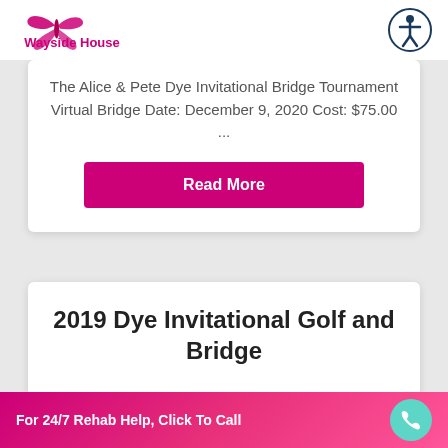Wayside House
The Alice & Pete Dye Invitational Bridge Tournament Virtual Bridge Date: December 9, 2020 Cost: $75.00 ...
Read More
2019 Dye Invitational Golf and Bridge
For 24/7 Rehab Help, Click To Call